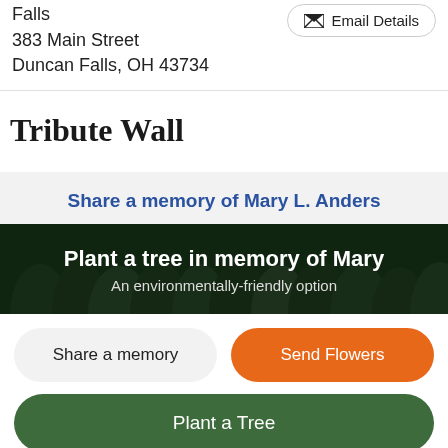Falls
383 Main Street
Duncan Falls, OH 43734
Email Details
Tribute Wall
Share a memory of Mary L. Anders
[Figure (photo): Forest of evergreen trees seen from below, dark green foliage background]
Plant a tree in memory of Mary
An environmentally-friendly option
Share a memory
Send Flowers
Plant a Tree